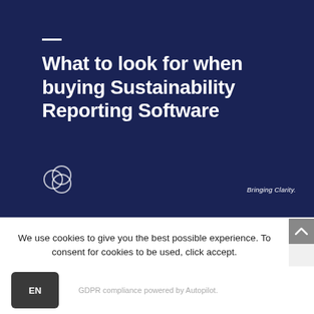What to look for when buying Sustainability Reporting Software
[Figure (logo): Circular overlapping rings logo (white outline) with tagline 'Bringing Clarity.' to the right]
We use cookies to give you the best possible experience. To consent for cookies to be used, click accept.
Accept
EN
GDPR compliance powered by Autopilot.